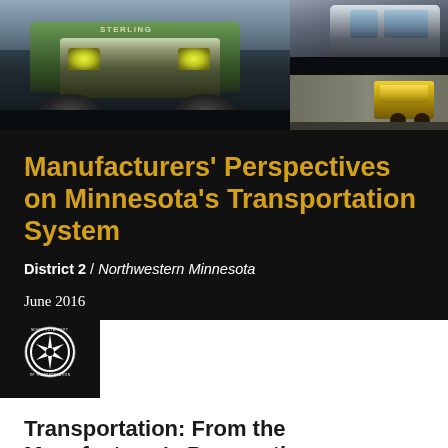[Figure (photo): Collage of transportation photos: green Sterling truck from front, white semi-truck, and road paving equipment on highway]
Manufacturers' Perspectives on Minnesota's Transportation System
District 2 / Northwestern Minnesota
June 2016
[Figure (logo): Minnesota Department of Transportation circular logo with star and compass symbol]
Transportation: From the Manufacturer's Perspective